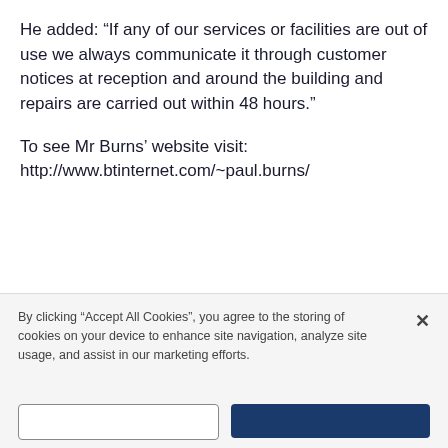He added: “If any of our services or facilities are out of use we always communicate it through customer notices at reception and around the building and repairs are carried out within 48 hours.”
To see Mr Burns’ website visit:
http://www.btinternet.com/~paul.burns/
By clicking “Accept All Cookies”, you agree to the storing of cookies on your device to enhance site navigation, analyze site usage, and assist in our marketing efforts.